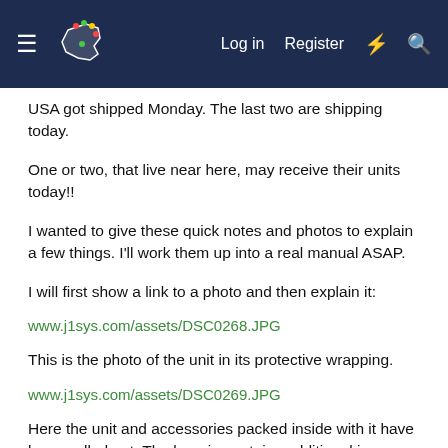≡ [logo] Log in  Register  ⚡  🔍
USA got shipped Monday. The last two are shipping today.
One or two, that live near here, may receive their units today!!
I wanted to give these quick notes and photos to explain a few things. I'll work them up into a real manual ASAP.
I will first show a link to a photo and then explain it:
www.j1sys.com/assets/DSC0268.JPG
This is the photo of the unit in its protective wrapping.
www.j1sys.com/assets/DSC0269.JPG
Here the unit and accessories packed inside with it have been pulled out. The baggie contains additional jumpers that won't be needed until the DR4 starts doing RDM along with some rubber feet if you want to put them on the bottom of the unit. There is also a jumper for...